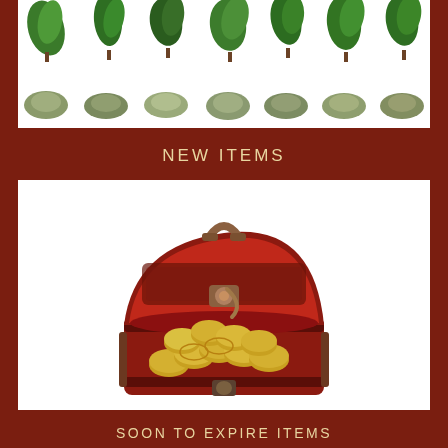[Figure (photo): A row of fresh herb plants (various green leafy herbs) on top, and below a row of piles of dried ground herbs/spices in various shades of green and grey, all on a white background.]
NEW ITEMS
[Figure (photo): A decorative red and gold wooden treasure chest open and filled with gold coins, on a white background.]
SOON TO EXPIRE ITEMS